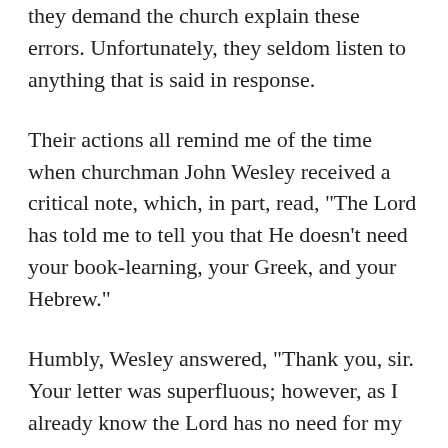they demand the church explain these errors. Unfortunately, they seldom listen to anything that is said in response.
Their actions all remind me of the time when churchman John Wesley received a critical note, which, in part, read, "The Lord has told me to tell you that He doesn't need your book-learning, your Greek, and your Hebrew."
Humbly, Wesley answered, "Thank you, sir. Your letter was superfluous; however, as I already know the Lord has no need for my 'book-learning,' as you put it. However, although the Lord has not directed me to say so, on my own responsibility, I